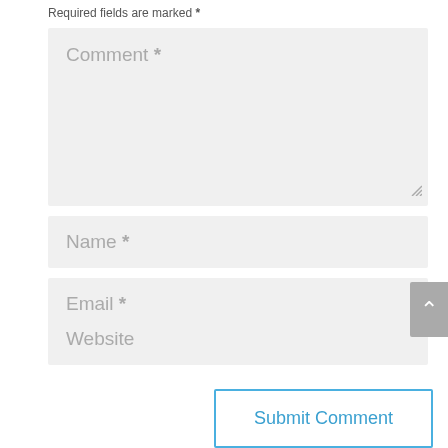Required fields are marked *
Comment *
Name *
Email *
Website
Submit Comment